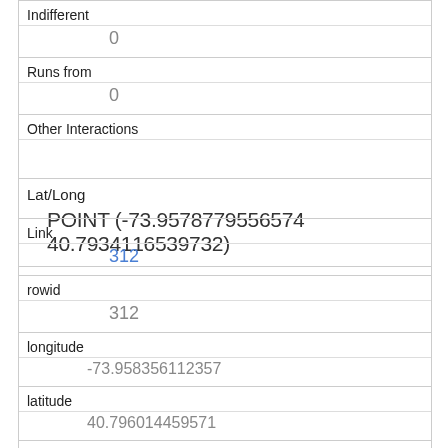| Indifferent | 0 |
| Runs from | 0 |
| Other Interactions |  |
| Lat/Long | POINT (-73.9578779556574 40.7934116539732) |
| Link | 312 |
| rowid | 312 |
| longitude | -73.958356112357 |
| latitude | 40.796014459571 |
| Unique Squirrel ID | 38C-AM-1019-07 |
| Hectare | 38C |